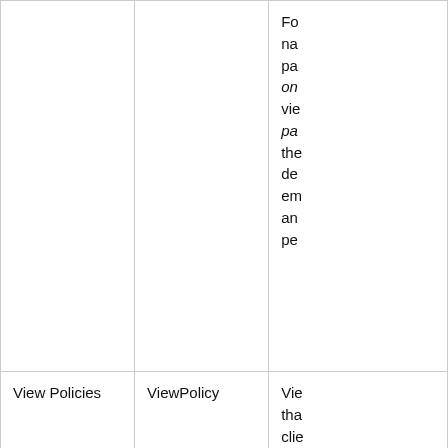|  |  | For name pa on vie pa the de em an pe |
| View Policies | ViewPolicy | Vie tha clie typ rea no |